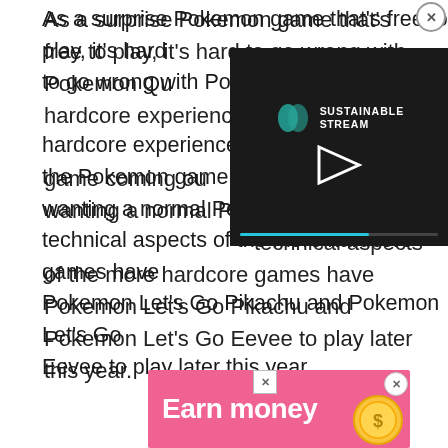As a surprise Pokemon game that's free to play, it's hard to go wrong with Pokemon Quest. Those with a hardcore experience will have to wait for the Pokemon game coming out, but for those wanting a normal Pokemon experience, the technical aspects of the more hardcore games have Pokemon Let's Go Pikachu and Pokemon Let's Go Eevee to play later this year.
[Figure (screenshot): A video player overlay showing a dark background with a logo and play button for 'Sustainable Stream' branding, with a progress bar at the bottom.]
[Figure (screenshot): An advertisement banner with pink background showing 'Earn money' text and a gold coin graphic.]